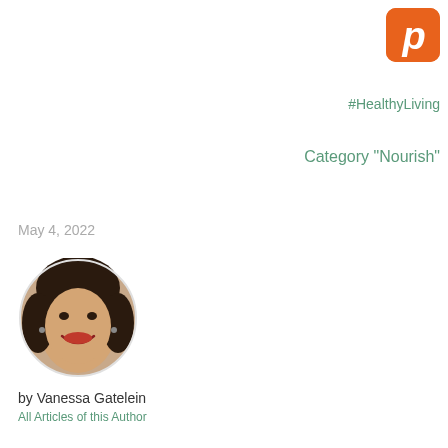[Figure (logo): Pinterest logo icon — white P on orange rounded square background]
#HealthyLiving
Category "Nourish"
May 4, 2022
[Figure (photo): Circular portrait photo of Vanessa Gatelein, a woman with dark hair, smiling, wearing earrings and red lipstick]
by Vanessa Gatelein
All Articles of this Author
[Figure (other): Right-pointing navigation arrow in a grey circle]